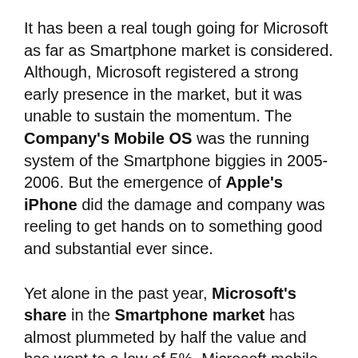It has been a real tough going for Microsoft as far as Smartphone market is considered. Although, Microsoft registered a strong early presence in the market, but it was unable to sustain the momentum. The Company's Mobile OS was the running system of the Smartphone biggies in 2005-2006. But the emergence of Apple's iPhone did the damage and company was reeling to get hands on to something good and substantial ever since.
Yet alone in the past year, Microsoft's share in the Smartphone market has almost plummeted by half the value and has went to a low of 5%. Microsoft mobile operating system has also been in trouble with the Android powered devices grabbing a larger chunk of the market. Although, Smartphone giants Samsung and LG are already big in Android market, but